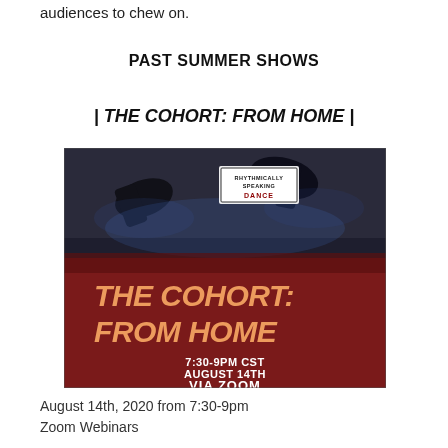audiences to chew on.
PAST SUMMER SHOWS
| THE COHORT: FROM HOME |
[Figure (photo): Promotional poster for 'The Cohort: From Home' by Rhythmically Speaking Dance. Shows dancers' feet on a stage in the upper half with a dark red/maroon background in the lower half. Text reads: 'THE COHORT: FROM HOME' in large stylized font, '7:30-9PM CST AUGUST 14TH VIA ZOOM' below. A small logo box reads 'RHYTHMICALLY SPEAKING DANCE'.]
August 14th, 2020 from 7:30-9pm
Zoom Webinars